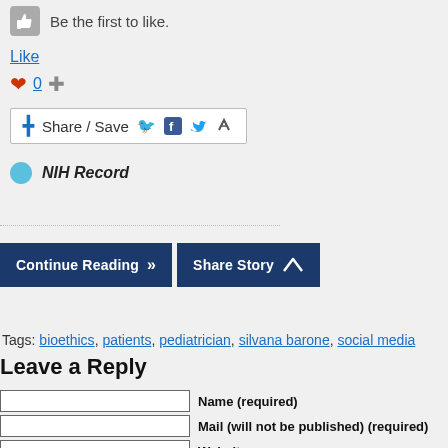[Figure (other): Thumbs up like button with text 'Be the first to like.']
Like
[Figure (other): Heart icon with count 0 and plus icon]
[Figure (other): Share/Save button with Facebook, Twitter, and share icons]
NIH Record
[Figure (other): Continue Reading button and Share Story button]
Tags: bioethics, patients, pediatrician, silvana barone, social media
Leave a Reply
Name (required)
Mail (will not be published) (required)
Website